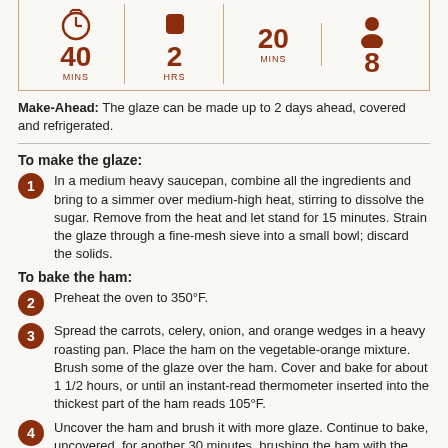[Figure (infographic): Recipe timing info bar with icons: clock showing 40 MINS, ingredient icon, 2 HRS, 20 MINS, person/servings icon, 8]
Make-Ahead: The glaze can be made up to 2 days ahead, covered and refrigerated.
To make the glaze:
1. In a medium heavy saucepan, combine all the ingredients and bring to a simmer over medium-high heat, stirring to dissolve the sugar. Remove from the heat and let stand for 15 minutes. Strain the glaze through a fine-mesh sieve into a small bowl; discard the solids.
To bake the ham:
2. Preheat the oven to 350°F.
3. Spread the carrots, celery, onion, and orange wedges in a heavy roasting pan. Place the ham on the vegetable-orange mixture. Brush some of the glaze over the ham. Cover and bake for about 1 1/2 hours, or until an instant-read thermometer inserted into the thickest part of the ham reads 105°F.
4. Uncover the ham and brush it with more glaze. Continue to bake, uncovered, for another 30 minutes, brushing the ham with the glaze every 10 minutes (you should have leftover glaze). The glaze should be golden and caramelized and the ham should read at least 125°F on